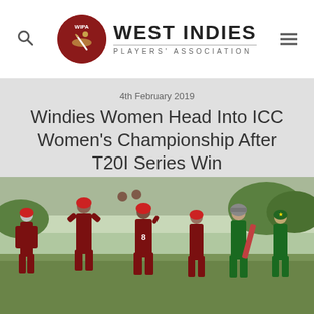WIPA WEST INDIES PLAYERS' ASSOCIATION
4th February 2019
Windies Women Head Into ICC Women's Championship After T20I Series Win
[Figure (photo): Windies women cricketers in maroon uniforms celebrating on field, with Pakistan players in green uniforms in the background]